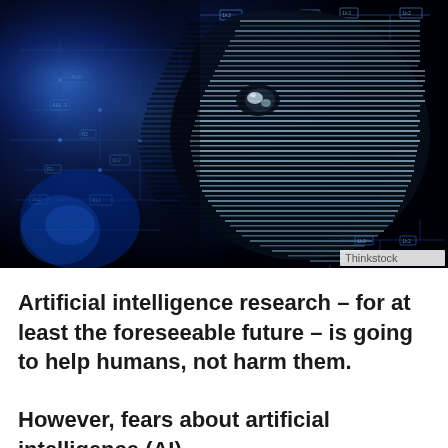[Figure (illustration): A robotic/digital AI face in profile view against a dark blue/black background with circuit diagrams and electronic schematics overlaid. The face appears metallic with horizontal line scan patterns. A 'Thinkstock' watermark appears in the bottom-right corner of the image.]
Artificial intelligence research – for at least the foreseeable future – is going to help humans, not harm them.
However, fears about artificial intelligence (AI)